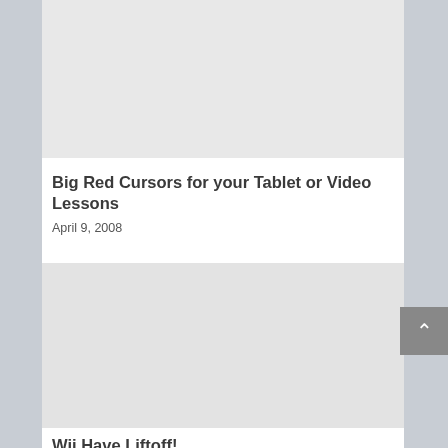[Figure (other): Gray placeholder image block at top of page]
Big Red Cursors for your Tablet or Video Lessons
April 9, 2008
[Figure (other): Gray placeholder image block in middle of page]
Wii Have Liftoff!